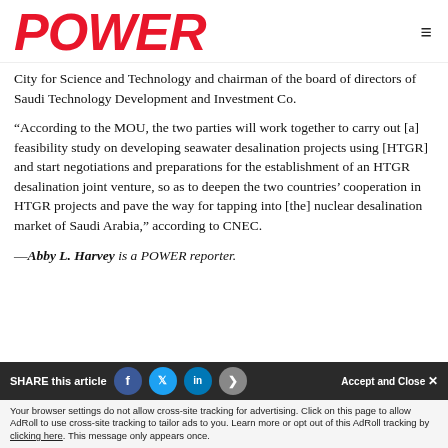POWER
City for Science and Technology and chairman of the board of directors of Saudi Technology Development and Investment Co.
“According to the MOU, the two parties will work together to carry out [a] feasibility study on developing seawater desalination projects using [HTGR] and start negotiations and preparations for the establishment of an HTGR desalination joint venture, so as to deepen the two countries’ cooperation in HTGR projects and pave the way for tapping into [the] nuclear desalination market of Saudi Arabia,” according to CNEC.
—Abby L. Harvey is a POWER reporter.
SHARE this article | Accept and Close × | Your browser settings do not allow cross-site tracking for advertising. Click on this page to allow AdRoll to use cross-site tracking to tailor ads to you. Learn more or opt out of this AdRoll tracking by clicking here. This message only appears once.